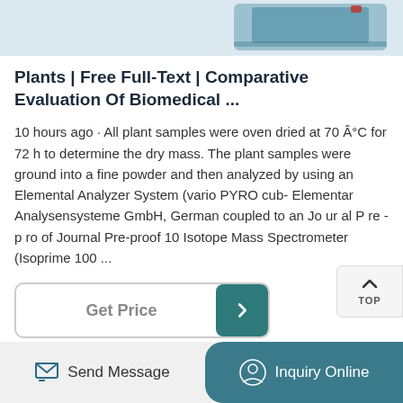[Figure (photo): Partial view of a scientific instrument/device, teal/blue colored equipment visible at top of card]
Plants | Free Full-Text | Comparative Evaluation Of Biomedical ...
10 hours ago · All plant samples were oven dried at 70 Â°C for 72 h to determine the dry mass. The plant samples were ground into a fine powder and then analyzed by using an Elemental Analyzer System (vario PYRO cub- Elementar Analysensysteme GmbH, German coupled to an Jo ur al P re -p ro of Journal Pre-proof 10 Isotope Mass Spectrometer (Isoprime 100 ...
Get Price
Send Message
Inquiry Online